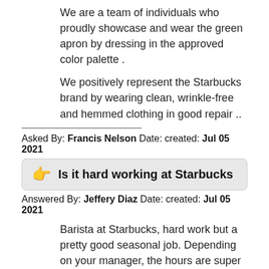We are a team of individuals who proudly showcase and wear the green apron by dressing in the approved color palette .
We positively represent the Starbucks brand by wearing clean, wrinkle-free and hemmed clothing in good repair ..
Asked By: Francis Nelson Date: created: Jul 05 2021
Is it hard working at Starbucks
Answered By: Jeffery Diaz Date: created: Jul 05 2021
Barista at Starbucks, hard work but a pretty good seasonal job. Depending on your manager, the hours are super flexible. Free drinks at the store you work at all the time (still got the hook up